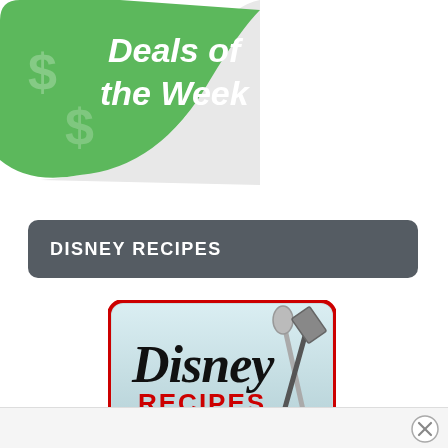[Figure (illustration): Green sticker badge with dollar signs and text 'Deals of the Week' in white bold font, partially clipped at top-left corner]
DISNEY RECIPES
[Figure (logo): Disney Recipes logo image with Disney-style font, RECIPES in red bold text, crossed spatula and spoon, a saucepan, and 'DISNEYFOODBLOG.COM' text at bottom right. Image has a light blue-gray background with red border and rounded corners.]
[Figure (other): Close/dismiss button (X in circle) at bottom right of page]